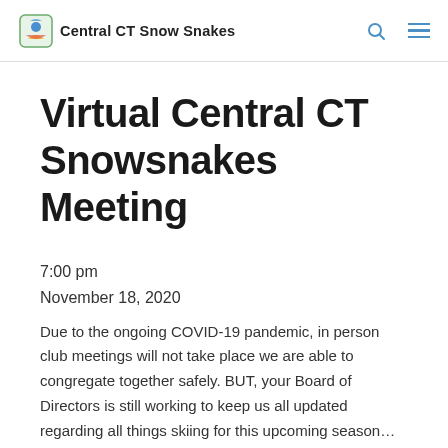Central CT Snow Snakes
Virtual Central CT Snowsnakes Meeting
7:00 pm
November 18, 2020
Due to the ongoing COVID-19 pandemic, in person club meetings will not take place we are able to congregate together safely. BUT, your Board of Directors is still working to keep us all updated regarding all things skiing for this upcoming season...